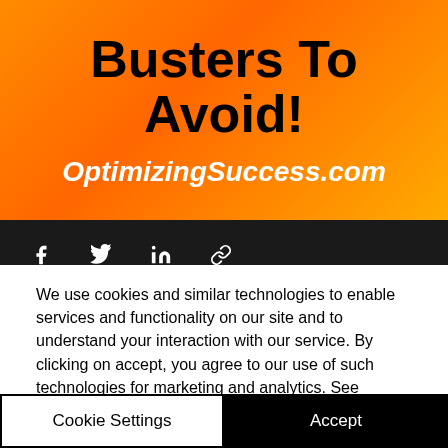[Figure (illustration): Orange gradient background banner with bold black text 'Busters To Avoid!' and white italic bold text 'OptimizingSuccess.com', followed by a dark bar with social share icons (Facebook, Twitter, LinkedIn, link).]
We use cookies and similar technologies to enable services and functionality on our site and to understand your interaction with our service. By clicking on accept, you agree to our use of such technologies for marketing and analytics. See Privacy Policy
Cookie Settings
Accept